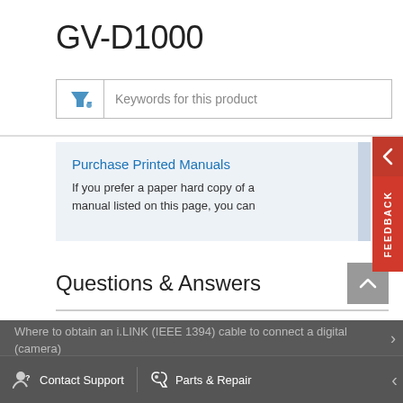GV-D1000
[Figure (screenshot): Search/filter input box with funnel icon and placeholder text 'Keywords for this product']
Purchase Printed Manuals
If you prefer a paper hard copy of a manual listed on this page, you can
Questions & Answers
Where to obtain an i.LINK (IEEE 1394) cable to connect a digital (camera)
Contact Support   Parts & Repair